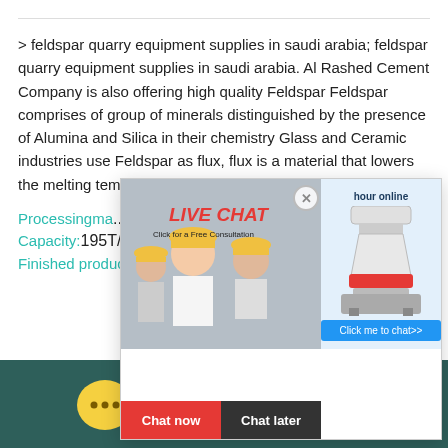> feldspar quarry equipment supplies in saudi arabia; feldspar quarry equipment supplies in saudi arabia. Al Rashed Cement Company is also offering high quality Feldspar Feldspar comprises of group of minerals distinguished by the presence of Alumina and Silica in their chemistry Glass and Ceramic industries use Feldspar as flux, flux is a material that lowers the melting temperature...
Processingma... Stone,coal
Capacity:195T/H
Finished product fineness:0-10mm|10-20mm...
[Figure (screenshot): Live chat popup overlay showing workers in hard hats, LIVE CHAT text in red italic, 'Click for a Free Consultation', Chat now and Chat later buttons, and a cone crusher machine image on the right with 'Click me to chat>>' button]
[Figure (screenshot): Dark teal footer bar with yellow speech bubble icon and 'Chat Online' text in white]